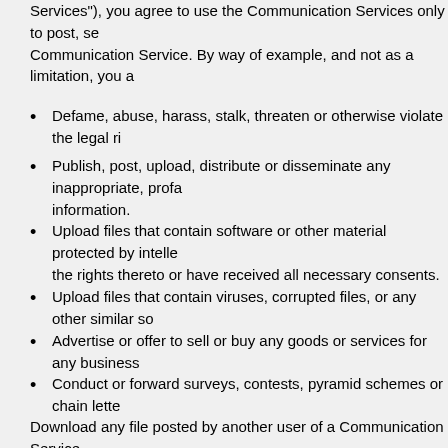Services"), you agree to use the Communication Services only to post, se Communication Service. By way of example, and not as a limitation, you a
Defame, abuse, harass, stalk, threaten or otherwise violate the legal ri
Publish, post, upload, distribute or disseminate any inappropriate, profa information.
Upload files that contain software or other material protected by intelle the rights thereto or have received all necessary consents.
Upload files that contain viruses, corrupted files, or any other similar so
Advertise or offer to sell or buy any goods or services for any business
Conduct or forward surveys, contests, pyramid schemes or chain lette
Download any file posted by another user of a Communication Service manner.
Falsify or delete any author attributions, legal or other proper notices o material contained in a file that is uploaded.
Restrict or inhibit any other user from using and enjoying the Communi
Violate any code of conduct or other guidelines which may be applicab
Harvest or otherwise collect information about others, including e-mail
Violate any applicable laws or regulations.
Third Time has no obligation to monitor the Communication Services. How Service and to remove any materials in its sole discretion. Third Time r